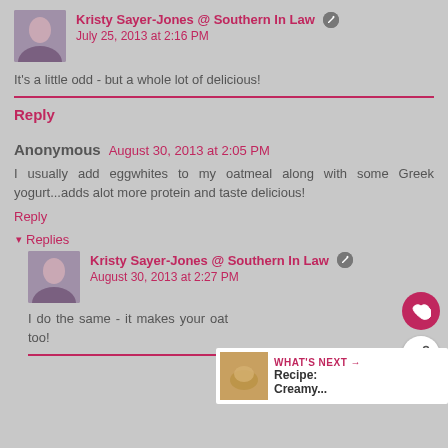Kristy Sayer-Jones @ Southern In Law
July 25, 2013 at 2:16 PM
It's a little odd - but a whole lot of delicious!
Reply
Anonymous  August 30, 2013 at 2:05 PM
I usually add eggwhites to my oatmeal along with some Greek yogurt...adds alot more protein and taste delicious!
Reply
Replies
Kristy Sayer-Jones @ Southern In Law
August 30, 2013 at 2:27 PM
I do the same - it makes your oat... too!
WHAT'S NEXT → Recipe: Creamy...